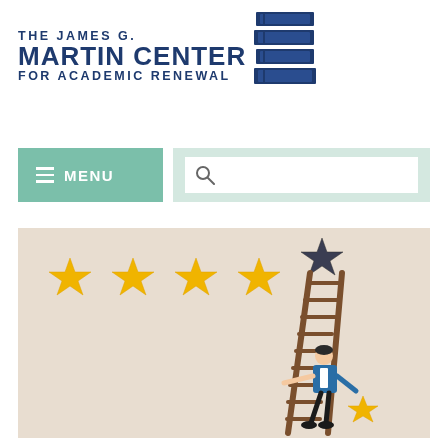[Figure (logo): The James G. Martin Center for Academic Renewal logo with stacked books icon]
[Figure (screenshot): Website navigation bar with green Menu button and search bar]
[Figure (illustration): Illustration of a person on a ladder reaching up to place a fifth star in a 5-star rating, with 4 gold stars already placed and the 5th dark star at the top of the ladder]